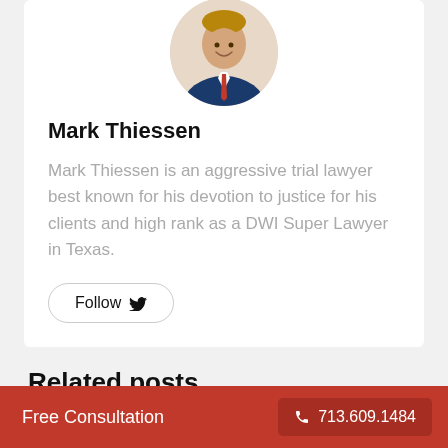[Figure (photo): Circular headshot of Mark Thiessen, a man in a navy suit with a red tie, smiling]
Mark Thiessen
Mark Thiessen is an aggressive trial lawyer best known for his devotion to justice for his clients and high rank as a DWI Super Lawyer in Texas.
Follow
Related posts
Free Consultation  713.609.1484